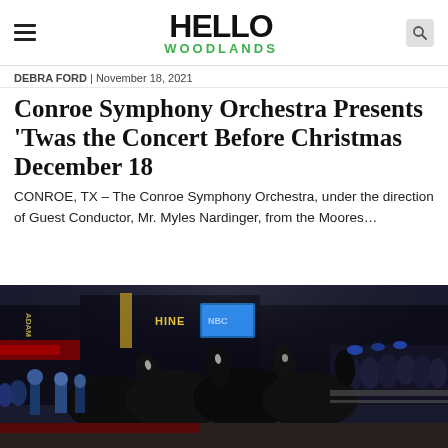HELLO WOODLANDS
DEBRA FORD | November 18, 2021
Conroe Symphony Orchestra Presents ‘Twas the Concert Before Christmas December 18
CONROE, TX – The Conroe Symphony Orchestra, under the direction of Guest Conductor, Mr. Myles Nardinger, from the Moores…
[Figure (photo): Night-time parade scene showing a team of dark horses pulling a carriage along a city street, with crowds of spectators lining the sidewalks. Colorful theater signage including 'Chinese' theater is visible in the background.]